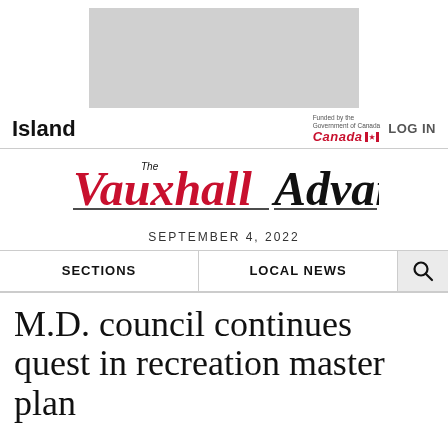[Figure (other): Gray advertisement banner placeholder]
Island
[Figure (logo): Funded by the Government of Canada - Canada wordmark with flag]
LOG IN
[Figure (logo): The Vauxhall Advance newspaper masthead logo]
SEPTEMBER 4, 2022
SECTIONS
LOCAL NEWS
M.D. council continues quest in recreation master plan